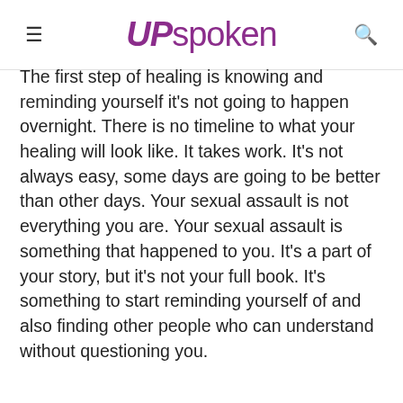≡  upspoken  🔍
The first step of healing is knowing and reminding yourself it's not going to happen overnight. There is no timeline to what your healing will look like. It takes work. It's not always easy, some days are going to be better than other days. Your sexual assault is not everything you are. Your sexual assault is something that happened to you. It's a part of your story, but it's not your full book. It's something to start reminding yourself of and also finding other people who can understand without questioning you.